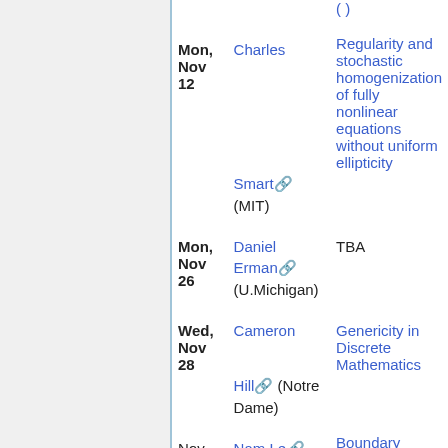| Date | Speaker | Title |
| --- | --- | --- |
| Mon, Nov 12 | Charles Smart (MIT) | Regularity and stochastic homogenization of fully nonlinear equations without uniform ellipticity |
| Mon, Nov 26 | Daniel Erman (U.Michigan) | TBA |
| Wed, Nov 28 | Cameron Hill (Notre Dame) | Genericity in Discrete Mathematics |
| Nov | Nam Le | Boundary regularity for solutions to the linearized |